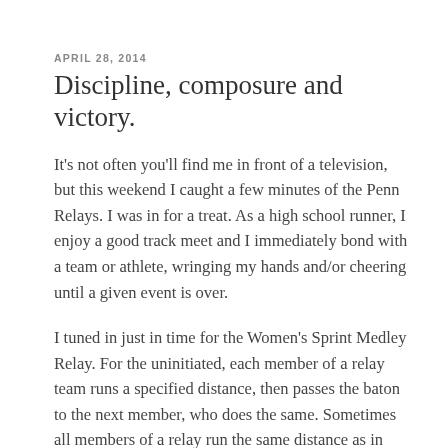APRIL 28, 2014
Discipline, composure and victory.
It's not often you'll find me in front of a television, but this weekend I caught a few minutes of the Penn Relays. I was in for a treat. As a high school runner, I enjoy a good track meet and I immediately bond with a team or athlete, wringing my hands and/or cheering until a given event is over.
I tuned in just in time for the Women's Sprint Medley Relay. For the uninitiated, each member of a relay team runs a specified distance, then passes the baton to the next member, who does the same. Sometimes all members of a relay run the same distance as in this brilliant world record win by the USA Women's Olympic Team: